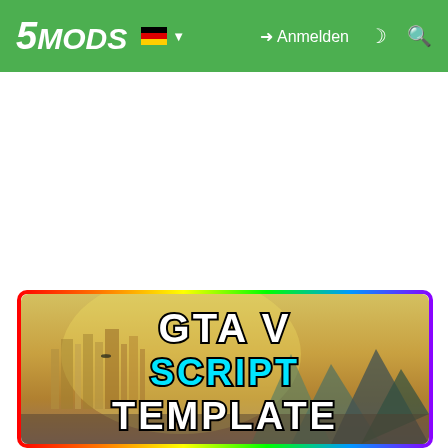5MODS — Anmelden
[Figure (screenshot): GTA V Script Template mod thumbnail image showing city skyline with golden haze, mountains in background, with text overlays: GTA V, SCRIPT, TEMPLATE]